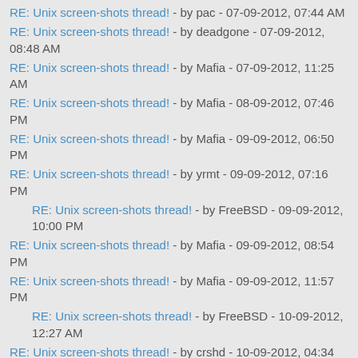RE: Unix screen-shots thread! - by pac - 07-09-2012, 07:44 AM
RE: Unix screen-shots thread! - by deadgone - 07-09-2012, 08:48 AM
RE: Unix screen-shots thread! - by Mafia - 07-09-2012, 11:25 AM
RE: Unix screen-shots thread! - by Mafia - 08-09-2012, 07:46 PM
RE: Unix screen-shots thread! - by Mafia - 09-09-2012, 06:50 PM
RE: Unix screen-shots thread! - by yrmt - 09-09-2012, 07:16 PM
RE: Unix screen-shots thread! - by FreeBSD - 09-09-2012, 10:00 PM
RE: Unix screen-shots thread! - by Mafia - 09-09-2012, 08:54 PM
RE: Unix screen-shots thread! - by Mafia - 09-09-2012, 11:57 PM
RE: Unix screen-shots thread! - by FreeBSD - 10-09-2012, 12:27 AM
RE: Unix screen-shots thread! - by crshd - 10-09-2012, 04:34 AM